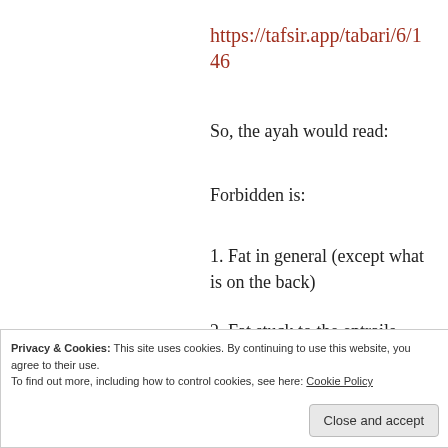https://tafsir.app/tabari/6/146
So, the ayah would read:
Forbidden is:
1. Fat in general (except what is on the back)
2. Fat stuck to the entrails
3. What is stuck to the bone
Note that #2 and #3 are a
Privacy & Cookies: This site uses cookies. By continuing to use this website, you agree to their use.
To find out more, including how to control cookies, see here: Cookie Policy
Close and accept